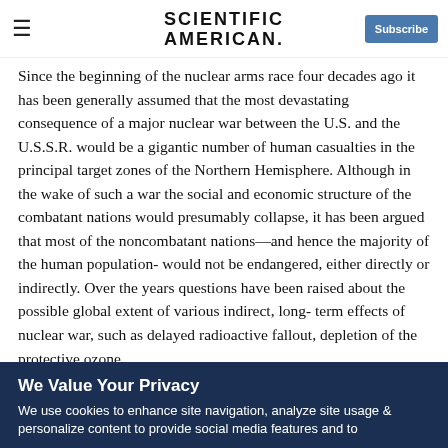Scientific American — Subscribe
Since the beginning of the nuclear arms race four decades ago it has been generally assumed that the most devastating consequence of a major nuclear war between the U.S. and the U.S.S.R. would be a gigantic number of human casualties in the principal target zones of the Northern Hemisphere. Although in the wake of such a war the social and economic structure of the combatant nations would presumably collapse, it has been argued that most of the noncombatant nations—and hence the majority of the human population- would not be endangered, either directly or indirectly. Over the years questions have been raised about the possible global extent of various indirect, long- term effects of nuclear war, such as delayed radioactive fallout, depletion of the protective ozone
We Value Your Privacy
We use cookies to enhance site navigation, analyze site usage & personalize content to provide social media features and to